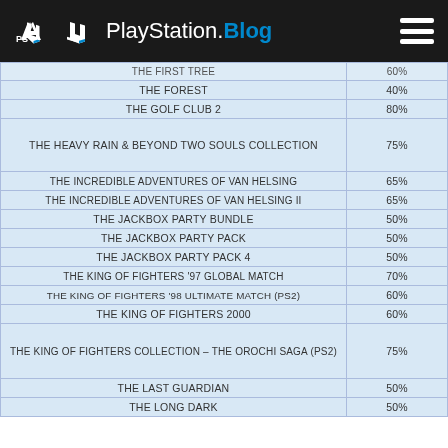PlayStation.Blog
| GAME | DISCOUNT |
| --- | --- |
| THE FIRST TREE | 60% |
| THE FOREST | 40% |
| THE GOLF CLUB 2 | 80% |
| THE HEAVY RAIN & BEYOND TWO SOULS COLLECTION | 75% |
| THE INCREDIBLE ADVENTURES OF VAN HELSING | 65% |
| THE INCREDIBLE ADVENTURES OF VAN HELSING II | 65% |
| THE JACKBOX PARTY BUNDLE | 50% |
| THE JACKBOX PARTY PACK | 50% |
| THE JACKBOX PARTY PACK 4 | 50% |
| THE KING OF FIGHTERS '97 GLOBAL MATCH | 70% |
| THE KING OF FIGHTERS '98 ULTIMATE MATCH (PS2) | 60% |
| THE KING OF FIGHTERS 2000 | 60% |
| THE KING OF FIGHTERS COLLECTION – THE OROCHI SAGA (PS2) | 75% |
| THE LAST GUARDIAN | 50% |
| THE LONG DARK | 50% |